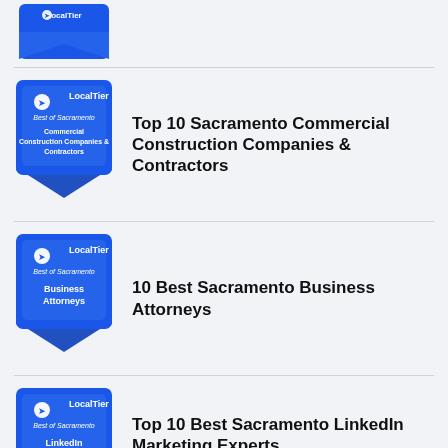[Figure (logo): Partial LocalTier badge at top of page - blue ribbon badge for Best of Sacramento]
[Figure (logo): LocalTier blue ribbon badge - Best of Sacramento, Commercial Construction Companies & Contractors]
Top 10 Sacramento Commercial Construction Companies & Contractors
[Figure (logo): LocalTier blue ribbon badge - Best of Sacramento, Business Attorneys]
10 Best Sacramento Business Attorneys
[Figure (logo): LocalTier blue ribbon badge - Best of Sacramento, LinkedIn (partial)]
Top 10 Best Sacramento LinkedIn Marketing Experts